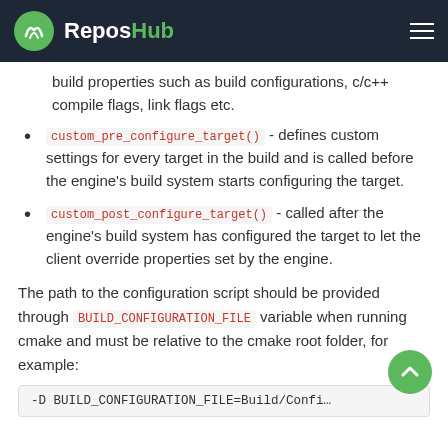ReposHub
build properties such as build configurations, c/c++ compile flags, link flags etc.
custom_pre_configure_target() - defines custom settings for every target in the build and is called before the engine's build system starts configuring the target.
custom_post_configure_target() - called after the engine's build system has configured the target to let the client override properties set by the engine.
The path to the configuration script should be provided through BUILD_CONFIGURATION_FILE variable when running cmake and must be relative to the cmake root folder, for example:
-D BUILD_CONFIGURATION_FILE=Build/Confi...